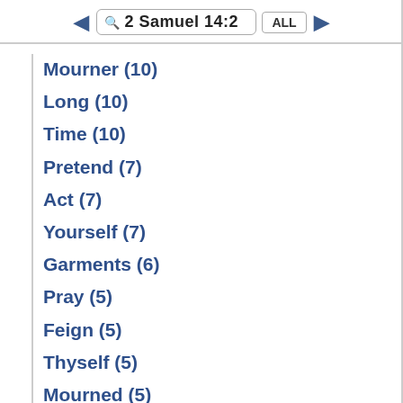2 Samuel 14:2
Mourner (10)
Long (10)
Time (10)
Pretend (7)
Act (7)
Yourself (7)
Garments (6)
Pray (5)
Feign (5)
Thyself (5)
Mourned (5)
Brought (5)